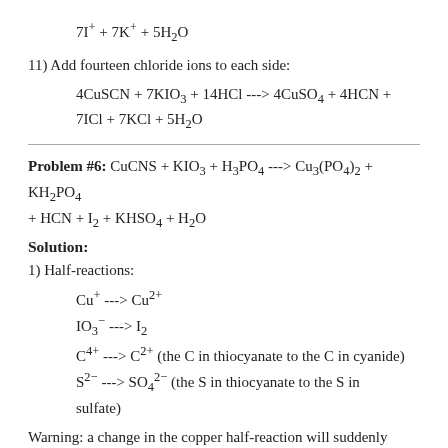11) Add fourteen chloride ions to each side:
Problem #6: CuCNS + KIO3 + H3PO4 ---> Cu3(PO4)2 + KH2PO4 + HCN + I2 + KHSO4 + H2O
Solution:
1) Half-reactions:
Warning: a change in the copper half-reaction will suddenly occur in step 4. Watch for it.